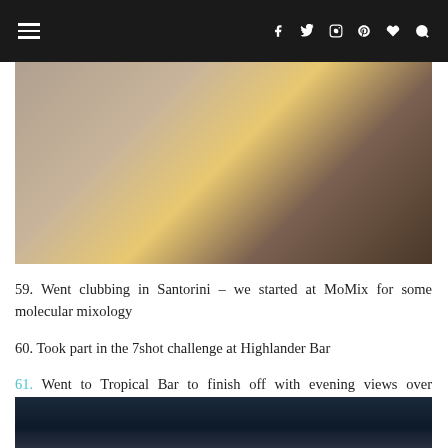Navigation bar with hamburger menu and social icons
[Figure (photo): People sitting at a dining table, woman in yellow top with long blonde hair prominent, outdoor/terrace setting]
59. Went clubbing in Santorini – we started at MoMix for some molecular mixology
60. Took part in the 7shot challenge at Highlander Bar
61. Went to Tropical Bar to finish off with evening views over Santorini's caldera
[Figure (photo): Evening/night photo with dark blue sky, partial view of Santorini caldera or rooftop setting]